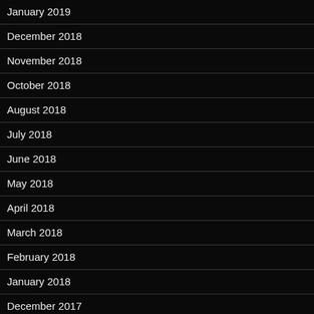January 2019
December 2018
November 2018
October 2018
August 2018
July 2018
June 2018
May 2018
April 2018
March 2018
February 2018
January 2018
December 2017